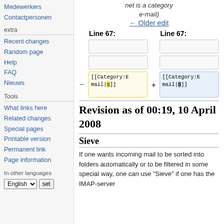Medewerkers
Contactpersonen
extra
Recent changes
Random page
Help
FAQ
Nieuws
Tools
What links here
Related changes
Special pages
Printable version
Permanent link
Page information
In other languages
net is a category e-mail)
← Older edit
| Line 67: | Line 67: |
| --- | --- |
|  |  |
|  |  |
| [[Category:Email|s]] | [[Category:Email|S]] |
Revision as of 00:19, 10 April 2008
Sieve
If one wants incoming mail to be sorted into folders automatically or to be filtered in some special way, one can use "Sieve" if one has the IMAP-server